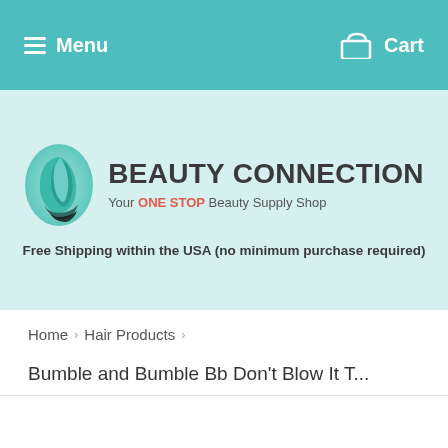Menu  Cart
[Figure (logo): Beauty Connection logo with teal swirling face icon and text 'BEAUTY CONNECTION — Your ONE STOP Beauty Supply Shop']
Free Shipping within the USA (no minimum purchase required)
Home › Hair Products ›
Bumble and Bumble Bb Don't Blow It T...